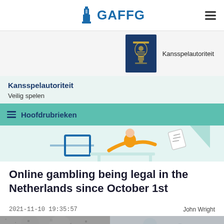GAFFG
[Figure (logo): Kansspelautoriteit logo — Dutch blue crest on dark navy background, with text 'Kansspelautoriteit' to the right]
Kansspelautoriteit
Veilig spelen
Hoofdrubrieken
[Figure (illustration): Decorative banner illustration showing a person in yellow shirt at a desk with teal/blue geometric shapes and a floating document]
Online gambling being legal in the Netherlands since October 1st
2021-11-10 19:35:57
John Wright
[Figure (photo): Partial photo at bottom — appears to show a textured or crowd image, cropped]